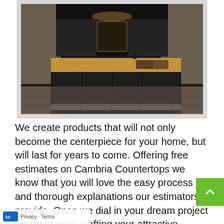[Figure (photo): Kitchen with large dark island and granite/stone countertop, dark cabinetry, stone tile flooring and stone wall backsplash]
We create products that will not only become the centerpiece for your home, but will last for years to come. Offering free estimates on Cambria Countertops we know that you will love the easy process and thorough explanations our estimators provide. Once we dial in your dream project we g... work crafting your attractive masterpiece, styled for your home that makes sense for you; your budget as